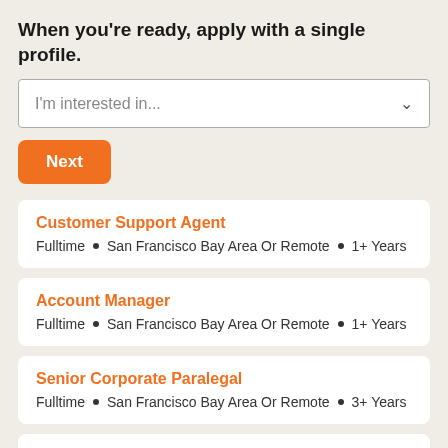When you're ready, apply with a single profile.
I'm interested in...
Next
Customer Support Agent
Fulltime • San Francisco Bay Area Or Remote • 1+ Years
Account Manager
Fulltime • San Francisco Bay Area Or Remote • 1+ Years
Senior Corporate Paralegal
Fulltime • San Francisco Bay Area Or Remote • 3+ Years
Sales Development Representative (SDR)